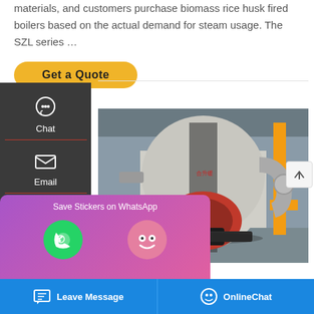materials, and customers purchase biomass rice husk fired boilers based on the actual demand for steam usage. The SZL series …
Get a Quote
[Figure (screenshot): Left sidebar navigation with Chat, Email, and Contact icons on dark background]
[Figure (photo): Industrial boiler in a factory setting — large cylindrical white/black boiler with red burner unit, silver ducts, and yellow gas pipes]
[Figure (screenshot): WhatsApp sticker save popup with purple-pink gradient background showing phone and WeChat icons]
Leave Message
OnlineChat